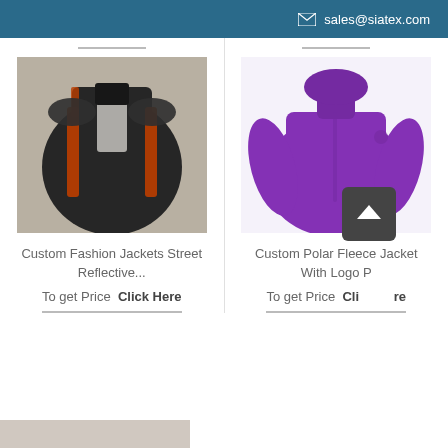sales@siatex.com
[Figure (photo): Dark black jacket with orange/red reflective side stripes]
Custom Fashion Jackets Street Reflective...
To get Price  Click Here
[Figure (photo): Purple polar fleece jacket displayed on white background]
Custom Polar Fleece Jacket With Logo P
To get Price  Click Here